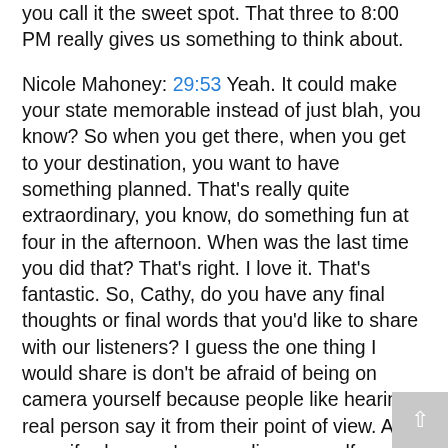you call it the sweet spot. That three to 8:00 PM really gives us something to think about.
Nicole Mahoney: 29:53 Yeah. It could make your state memorable instead of just blah, you know? So when you get there, when you get to your destination, you want to have something planned. That's really quite extraordinary, you know, do something fun at four in the afternoon. When was the last time you did that? That's right. I love it. That's fantastic. So, Cathy, do you have any final thoughts or final words that you'd like to share with our listeners? I guess the one thing I would share is don't be afraid of being on camera yourself because people like hearing a real person say it from their point of view. And even if, when you're recording yourself, you stumble, go ahead. So what everybody makes mistakes, just try to communicate the passion that you have for whatever it is you're selling. And I think you'll be a success. Summit is a